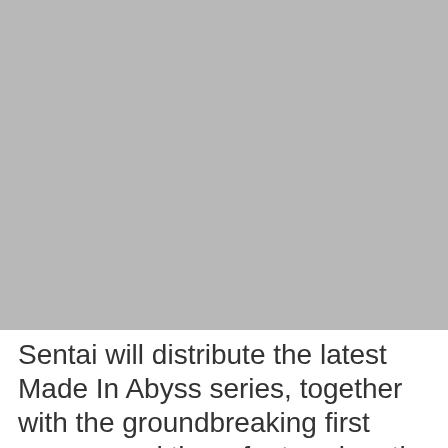[Figure (photo): A large gray placeholder image occupying the top portion of the page]
Sentai will distribute the latest Made In Abyss series, together with the groundbreaking first season and three feature-length films, to